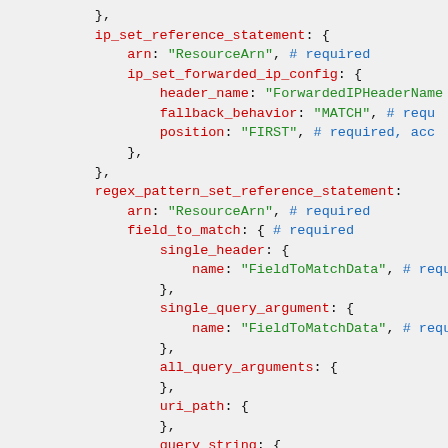Code snippet showing YAML/HCL configuration for ip_set_reference_statement and regex_pattern_set_reference_statement with nested fields.